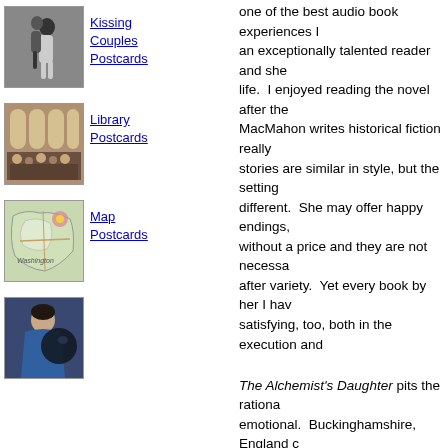[Figure (photo): Black and white photo of a kissing couple dancing]
Kissing Couples Postcards
[Figure (photo): Black and white photo of a grand library interior with audience]
Library Postcards
[Figure (map): Colorful illustrated map postcard labeled Washington]
Map Postcards
[Figure (illustration): Painting of a woman in blue robe with dark background]
one of the best audio book experiences I... an exceptionally talented reader and she... life. I enjoyed reading the novel after the... MacMahon writes historical fiction really... stories are similar in style, but the setting... different. She may offer happy endings,... without a price and they are not necessa... after variety. Yet every book by her I hav... satisfying, too, both in the execution and...
The Alchemist's Daughter pits the rationa... emotional. Buckinghamshire, England c... Seldon, raised solely by her natural philo... almost an embodiment of one of his expe... nothing if not rational and has been raise... laboratory. Both as his apprentice but als... understood by her) but as his subject as... in childbirth and her only female compan... thanks the the household's cook. So Em... and intellectually astute young woman. S... have been long trying to accomplish a fe... managed--to reintroduce life back to dea... alchemical sleight of hand if they can suc...